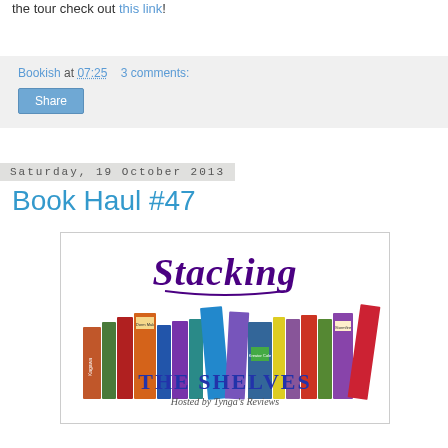the tour check out this link!
Bookish at 07:25   3 comments:
Share
Saturday, 19 October 2013
Book Haul #47
[Figure (illustration): Stacking the Shelves logo showing colorful stacked books with the text 'Stacking The Shelves - Hosted by Tynga's Reviews']